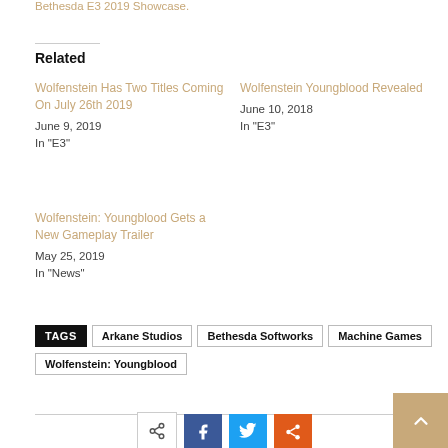Bethesda E3 2019 Showcase.
Related
Wolfenstein Has Two Titles Coming On July 26th 2019
June 9, 2019
In "E3"
Wolfenstein Youngblood Revealed
June 10, 2018
In "E3"
Wolfenstein: Youngblood Gets a New Gameplay Trailer
May 25, 2019
In "News"
TAGS  Arkane Studios  Bethesda Softworks  Machine Games  Wolfenstein: Youngblood